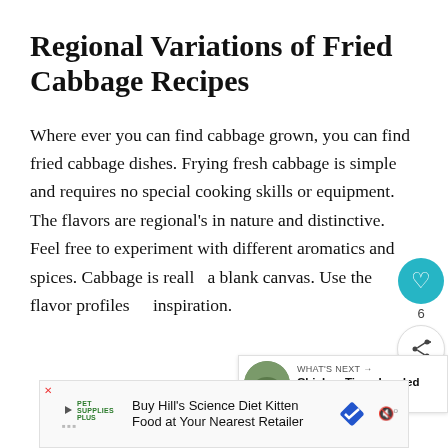Regional Variations of Fried Cabbage Recipes
Where ever you can find cabbage grown, you can find fried cabbage dishes. Frying fresh cabbage is simple and requires no special cooking skills or equipment. The flavors are regional's in nature and distinctive. Feel free to experiment with different aromatics and spices. Cabbage is really a blank canvas. Use the flavor profiles inspiration.
[Figure (screenshot): Social sharing widget with teal heart button and share icon, showing count of 6]
[Figure (screenshot): What's Next promotional widget showing Chicken Tinga Loaded Fries with thumbnail]
[Figure (screenshot): Pet Supplies Plus advertisement banner: Buy Hill's Science Diet Kitten Food at Your Nearest Retailer]